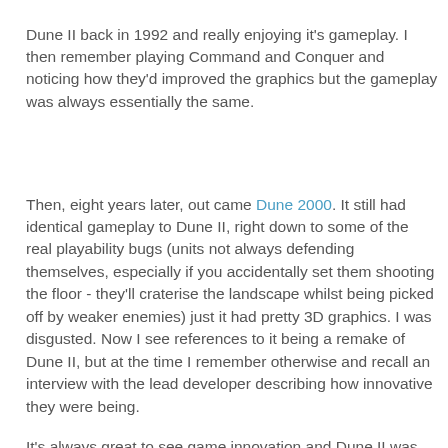Dune II back in 1992 and really enjoying it's gameplay. I then remember playing Command and Conquer and noticing how they'd improved the graphics but the gameplay was always essentially the same.
Then, eight years later, out came Dune 2000. It still had identical gameplay to Dune II, right down to some of the real playability bugs (units not always defending themselves, especially if you accidentally set them shooting the floor - they'll craterise the landscape whilst being picked off by weaker enemies) just it had pretty 3D graphics. I was disgusted. Now I see references to it being a remake of Dune II, but at the time I remember otherwise and recall an interview with the lead developer describing how innovative they were being.
It's always great to see game innovation and Dune II was